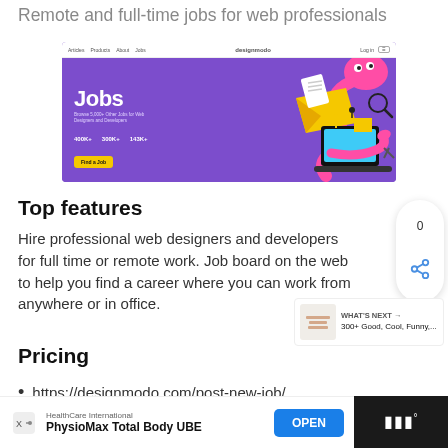Remote and full-time jobs for web professionals
[Figure (screenshot): Screenshot of Designmodo Jobs website featuring purple background with illustrated characters and 'Jobs' heading, with navigation bar at top showing 'designmodo' logo]
Top features
Hire professional web designers and developers for full time or remote work. Job board on the web to help you find a career where you can work from anywhere or in office.
Pricing
https://designmodo.com/post-new-job/
[Figure (infographic): Share bubble showing 0 count and share icon, and 'WHAT'S NEXT' promo box showing '300+ Good, Cool, Funny,...']
HealthCare International | PhysioMax Total Body UBE | OPEN